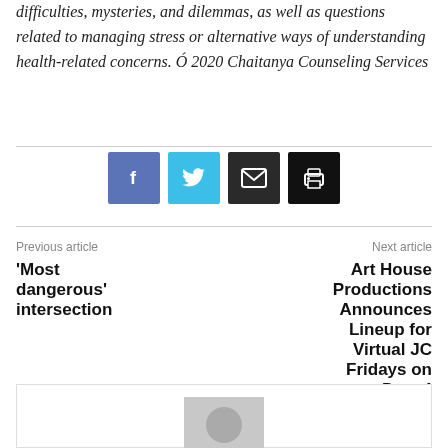difficulties, mysteries, and dilemmas, as well as questions related to managing stress or alternative ways of understanding health-related concerns. Ó 2020 Chaitanya Counseling Services
[Figure (other): Social sharing buttons: Facebook (blue), Twitter (light blue), Email (dark), Print (black)]
Previous article
'Most dangerous' intersection
Next article
Art House Productions Announces Lineup for Virtual JC Fridays on Dec. 4
[Figure (photo): Author avatar placeholder — grey square with silhouette head shape]